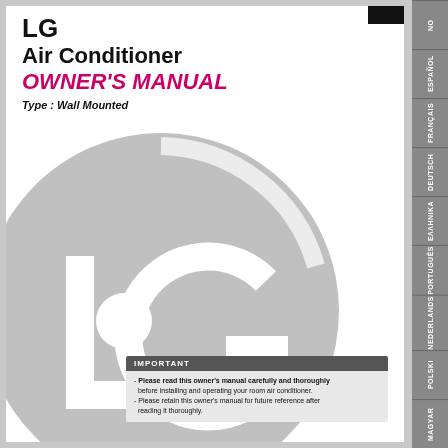LG Air Conditioner OWNER'S MANUAL
Type : Wall Mounted
[Figure (logo): LG brand logo — large grey circle with white 'LG' letters inside, stylized with circle-dot for 'L' and angular 'G' shape]
IMPORTANT
Please read this owner's manual carefully and thoroughly before installing and operating your room air conditioner.
Please retain this owner's manual for future reference after reading it thoroughly.
NO ESPAÑOL FRANÇAIS DEUTSCH ΕΛΛΗΝΙΚΑ PORTUGUÊS NEDERLANDS POLSKI MAGYAR